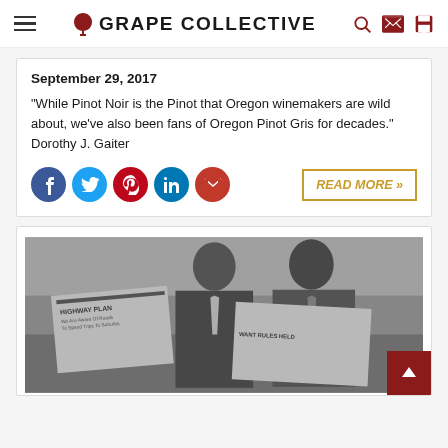GRAPE COLLECTIVE
September 29, 2017
"While Pinot Noir is the Pinot that Oregon winemakers are wild about, we've also been fans of Oregon Pinot Gris for decades." Dorothy J. Gaiter
[Figure (other): Social sharing icons: Facebook, Twitter, Pinterest, LinkedIn, Gmail and READ MORE button]
[Figure (photo): Black and white photograph of two men in suits reading newspapers; headlines visible include 'HIGHWAY PLAN' and 'WANT RULES HELD']